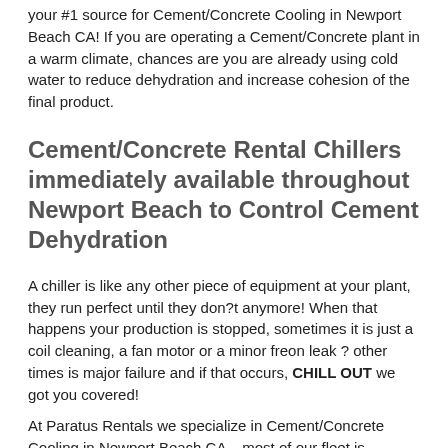your #1 source for Cement/Concrete Cooling in Newport Beach CA! If you are operating a Cement/Concrete plant in a warm climate, chances are you are already using cold water to reduce dehydration and increase cohesion of the final product.
Cement/Concrete Rental Chillers immediately available throughout Newport Beach to Control Cement Dehydration
A chiller is like any other piece of equipment at your plant, they run perfect until they don?t anymore! When that happens your production is stopped, sometimes it is just a coil cleaning, a fan motor or a minor freon leak ? other times is major failure and if that occurs, CHILL OUT we got you covered!
At Paratus Rentals we specialize in Cement/Concrete Cooling in Newport Beach CA – most of our fleet is positioned throughout the Southern half of the Country. When you need that rental chiller to resume production in many cases, we can have it there the